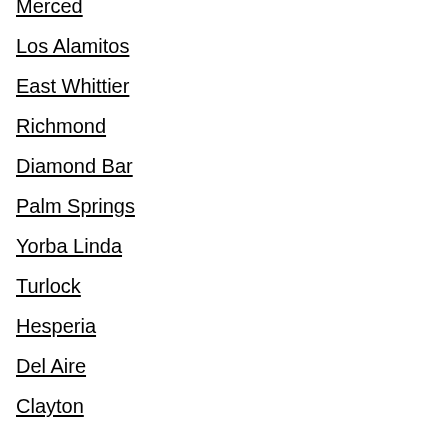Merced
Los Alamitos
East Whittier
Richmond
Diamond Bar
Palm Springs
Yorba Linda
Turlock
Hesperia
Del Aire
Clayton